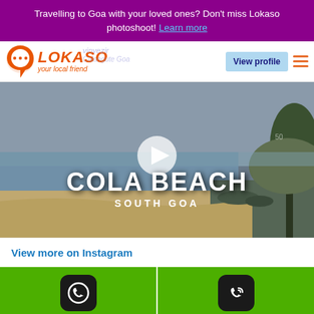Travelling to Goa with your loved ones? Don't miss Lokaso photoshoot! Learn more
[Figure (logo): Lokaso logo with pin/chat bubble icon and tagline 'your local friend']
[Figure (screenshot): Video thumbnail of Cola Beach, South Goa with play button overlay. Beach aerial view with trees on right, sea and sandy shore visible.]
View more on Instagram
Whatsapp
Call